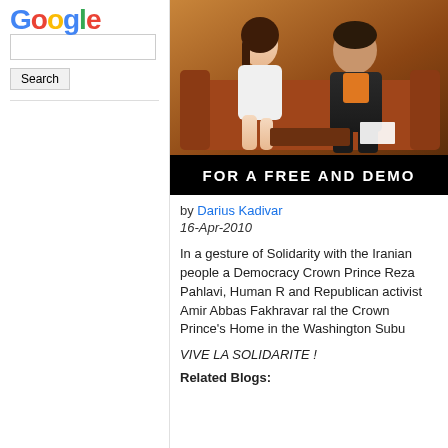[Figure (logo): Google logo in multicolor letters]
[Figure (photo): Two people sitting on brown leather sofa; woman in white dress and man in dark jacket and orange shirt; black banner at bottom reads FOR A FREE AND DEMO]
by Darius Kadivar
16-Apr-2010
In a gesture of Solidarity with the Iranian people a Democracy Crown Prince Reza Pahlavi, Human R and Republican activist Amir Abbas Fakhravar ral the Crown Prince's Home in the Washington Subu
VIVE LA SOLIDARITE !
Related Blogs: